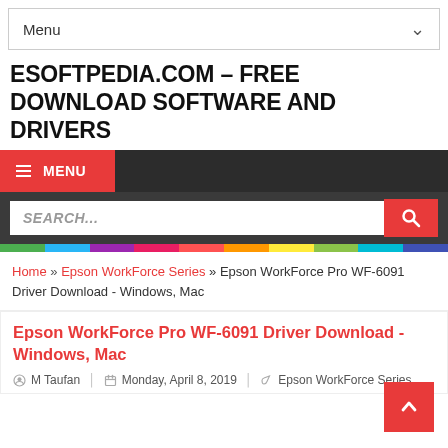Menu
ESOFTPEDIA.COM - FREE DOWNLOAD SOFTWARE AND DRIVERS
[Figure (screenshot): Navigation bar with red MENU button and search field with red search button, followed by a multicolor strip]
Home » Epson WorkForce Series » Epson WorkForce Pro WF-6091 Driver Download - Windows, Mac
Epson WorkForce Pro WF-6091 Driver Download - Windows, Mac
M Taufan   Monday, April 8, 2019   Epson WorkForce Series